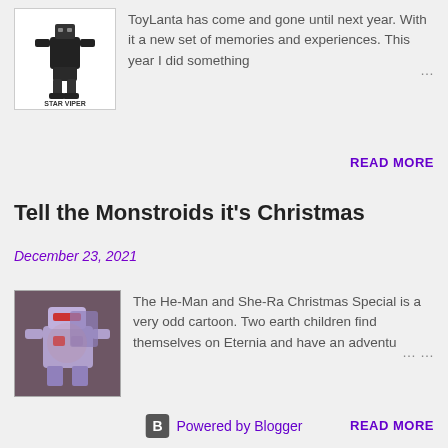[Figure (illustration): Star Viper Transformers robot toy thumbnail with 'STAR VIPER' text at the bottom]
ToyLanta has come and gone until next year. With it a new set of memories and experiences. This year I did something …
READ MORE
Tell the Monstroids it's Christmas
December 23, 2021
[Figure (illustration): Purple/lavender robotic Monstroids cartoon characters from He-Man Christmas Special]
The He-Man and She-Ra Christmas Special is a very odd cartoon. Two earth children find themselves on Eternia and have an adventu… …
READ MORE
Powered by Blogger